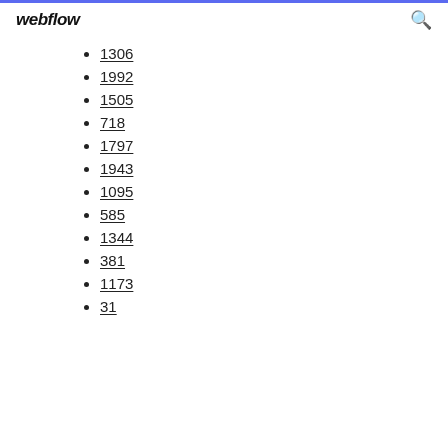webflow
1306
1992
1505
718
1797
1943
1095
585
1344
381
1173
31